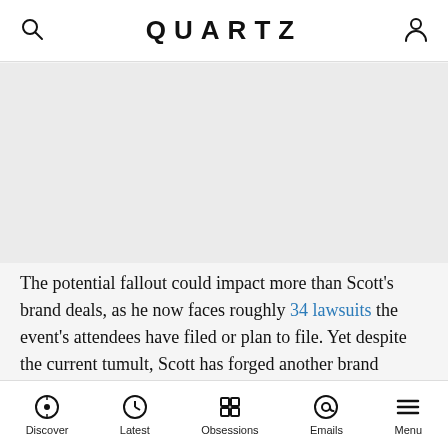QUARTZ
[Figure (other): Advertisement / empty gray placeholder area]
The potential fallout could impact more than Scott's brand deals, as he now faces roughly 34 lawsuits the event's attendees have filed or plan to file. Yet despite the current tumult, Scott has forged another brand partnership opportunity, this time teaming with BetterHelp to offer free therapy to concertgoers.
Discover | Latest | Obsessions | Emails | Menu